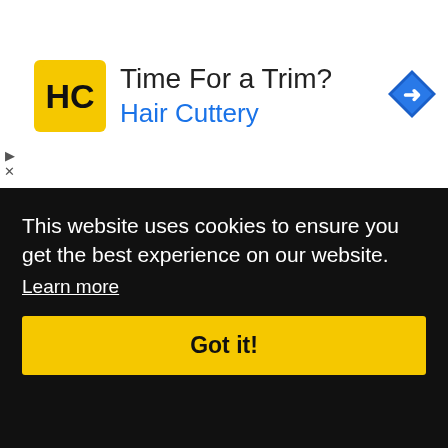[Figure (other): Hair Cuttery advertisement banner with logo, 'Time For a Trim?' headline, and navigation icon]
quently applies "after hours", I will give them my cell number to call or text me so I know they can shop. That's what I've found is the best way to get over 1,000 shops per month scheduled on time.
I definitely can understand the frustration of shoppers
This website uses cookies to ensure you get the best experience on our website.
Learn more
Got it!
Like This